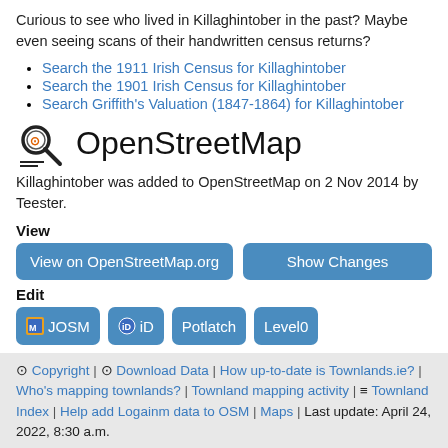Curious to see who lived in Killaghintober in the past? Maybe even seeing scans of their handwritten census returns?
Search the 1911 Irish Census for Killaghintober
Search the 1901 Irish Census for Killaghintober
Search Griffith's Valuation (1847-1864) for Killaghintober
OpenStreetMap
Killaghintober was added to OpenStreetMap on 2 Nov 2014 by Teester.
View
View on OpenStreetMap.org | Show Changes
Edit
JOSM | iD | Potlatch | Level0
© Copyright | ⊙ Download Data | How up-to-date is Townlands.ie? | Who's mapping townlands? | Townland mapping activity | ≡ Townland Index | Help add Logainm data to OSM | Maps | Last update: April 24, 2022, 8:30 a.m.